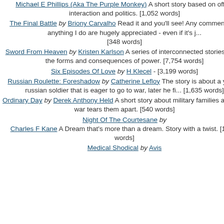Michael E Phillips (Aka The Purple Monkey) A short story based on office interaction and politics. [1,052 words]
The Final Battle by Briony Carvalho Read it and you'll see! Any comments on anything I do are hugely appreciated - even if it's j... [348 words]
Sword From Heaven by Kristen Karlson A series of interconnected stories about the forms and consequences of power. [7,754 words]
Six Episodes Of Love by H Klecel - [3,199 words]
Russian Roulette: Foreshadow by Catherine Lefloy The story is about a young russian soldier that is eager to go to war, later he fi... [1,635 words]
Ordinary Day by Derek Anthony Held A short story about military families and how war tears them apart. [540 words]
Night Of The Courtesane by Charles F Kane A Dream that's more than a dream. Story with a twist. [1,243 words]
Medical Shodical by Avis
City
Your Review
Please Enter Code
Submit Y
Submit Y
Worst  1  2  3  4
Submit
COPYRIGHT NOTICE
© 2006 Joseph Xavier Ramirez
STORYMANIA PUBLICATION DATE
September 2006